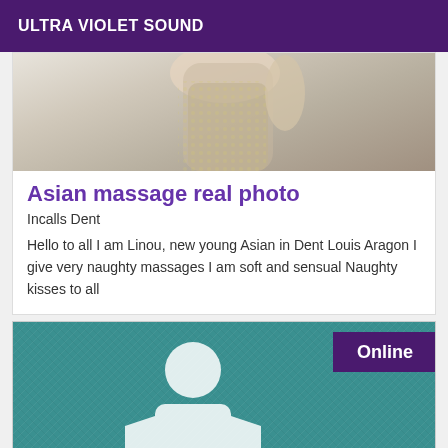ULTRA VIOLET SOUND
[Figure (photo): Photo of a person in a shiny/sequined outfit, cropped at upper body]
Asian massage real photo
Incalls Dent
Hello to all I am Linou, new young Asian in Dent Louis Aragon I give very naughty massages I am soft and sensual Naughty kisses to all
[Figure (illustration): Teal textured background with a white person silhouette/placeholder icon and an 'Online' badge in the top right corner]